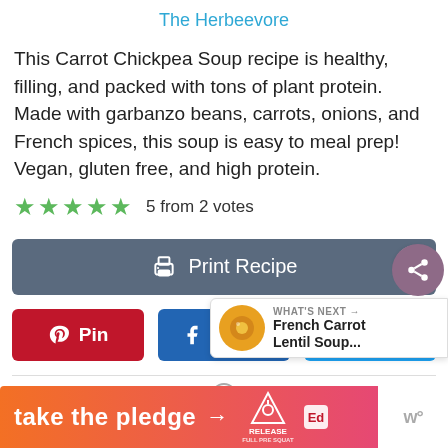The Herbeevore
This Carrot Chickpea Soup recipe is healthy, filling, and packed with tons of plant protein. Made with garbanzo beans, carrots, onions, and French spices, this soup is easy to meal prep! Vegan, gluten free, and high protein.
5 from 2 votes
Print Recipe
Pin
Share
Tweet
WHAT'S NEXT → French Carrot Lentil Soup...
[Figure (infographic): take the pledge orange-to-pink gradient ad banner with Release and EdReady logos]
w°